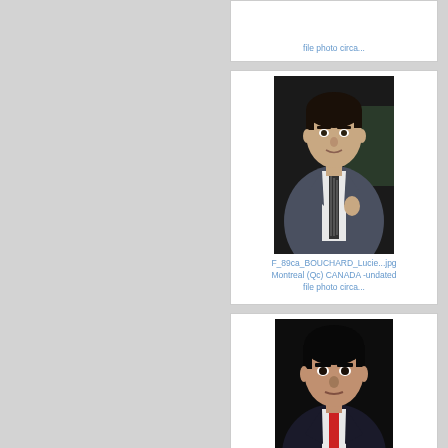file photo circa...
[Figure (photo): Portrait photo of a man in a suit with a striped tie, standing indoors]
F_89ca_BOUCHARD_Lucie...jpg
Montreal (Qc) CANADA -undated file photo circa...
[Figure (photo): Portrait photo of a man in a dark jacket with a red tie, looking directly at camera]